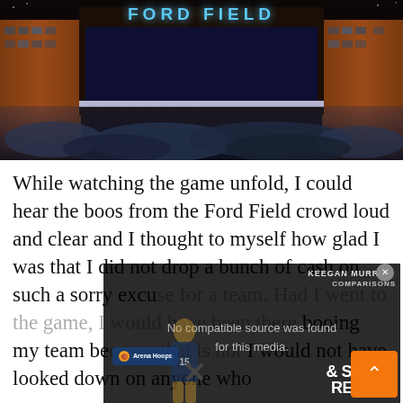[Figure (photo): Night photo of Ford Field stadium exterior with large crowd gathered outside. 'FORD FIELD' signage lit in blue on the building facade.]
While watching the game unfold, I could hear the boos from the Ford Field crowd loud and clear and I thought to myself how glad I was that I did not drop a bunch of cash on such a sorry excuse for a team. Had I went to the game, I would have been there booing my team because that is not something I would not have looked down on anyone who did.
[Figure (screenshot): Video overlay showing 'No compatible source was found for this media.' message with Keegan Murray comparisons and scout report branding, an X close button, and an orange scroll-to-top button.]